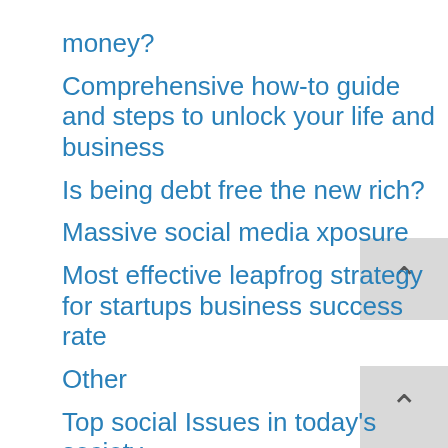money?
Comprehensive how-to guide and steps to unlock your life and business
Is being debt free the new rich?
Massive social media xposure
Most effective leapfrog strategy for startups business success rate
Other
Top social Issues in today's society
What's a link party and why you need them